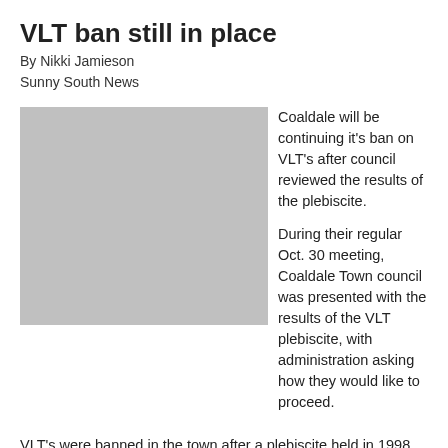VLT ban still in place
By Nikki Jamieson
Sunny South News
[Figure (photo): Gray placeholder photo block]
Coaldale will be continuing it’s ban on VLT’s after council reviewed the results of the plebiscite.

During their regular Oct. 30 meeting, Coaldale Town council was presented with the results of the VLT plebiscite, with administration asking how they would like to proceed.
VLT’s were banned in the town after a plebiscite held in 1998